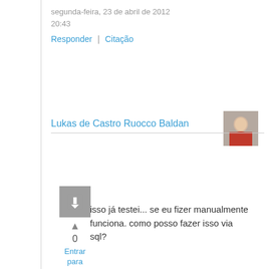segunda-feira, 23 de abril de 2012
20:43
Responder  |  Citação
Lukas de Castro Ruocco Baldan
[Figure (illustration): User avatar photo of Lukas de Castro Ruocco Baldan]
[Figure (other): Square chat/comment icon in grey]
▲
0
Entrar para Votar
isso já testei... se eu fizer manualmente funciona. como posso fazer isso via sql?